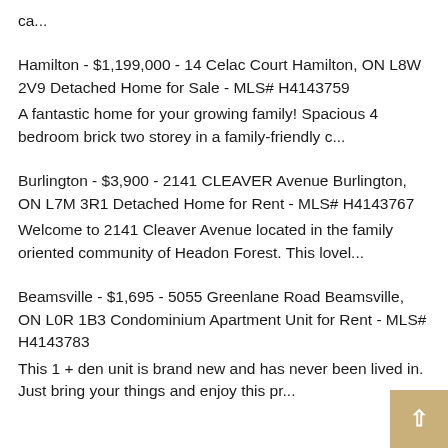ca...
Hamilton - $1,199,000 - 14 Celac Court Hamilton, ON L8W 2V9 Detached Home for Sale - MLS# H4143759
A fantastic home for your growing family! Spacious 4 bedroom brick two storey in a family-friendly c...
Burlington - $3,900 - 2141 CLEAVER Avenue Burlington, ON L7M 3R1 Detached Home for Rent - MLS# H4143767
Welcome to 2141 Cleaver Avenue located in the family oriented community of Headon Forest. This lovel...
Beamsville - $1,695 - 5055 Greenlane Road Beamsville, ON L0R 1B3 Condominium Apartment Unit for Rent - MLS# H4143783
This 1 + den unit is brand new and has never been lived in. Just bring your things and enjoy this pr...